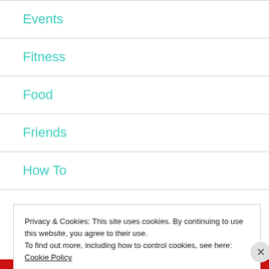Events
Fitness
Food
Friends
How To
Privacy & Cookies: This site uses cookies. By continuing to use this website, you agree to their use.
To find out more, including how to control cookies, see here: Cookie Policy
Close and accept